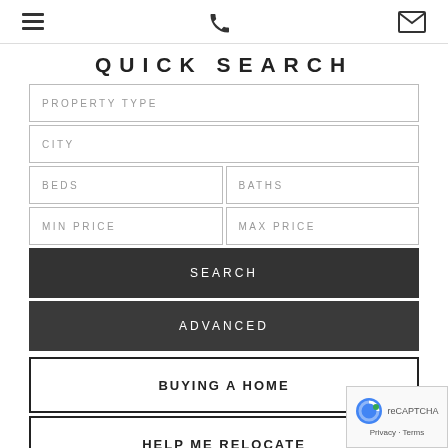Navigation header with hamburger menu, phone icon, and mail icon
QUICK SEARCH
PROPERTY TYPE
CITY
BEDS
BATHS
MIN PRICE
MAX PRICE
SEARCH
ADVANCED
BUYING A HOME
HELP ME RELOCATE